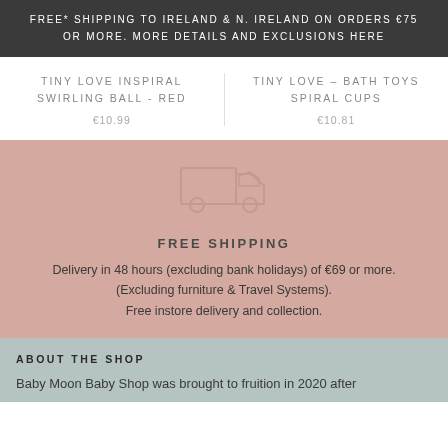FREE* SHIPPING TO IRELAND & N. IRELAND ON ORDERS €75 OR MORE. MORE DETAILS AND EXCLUSIONS HERE
TINY LOVE INSPIRAL SWIRLING BALL - RED
€10.99
TINY LOVE – BATH TOYS SPIRAL CUPS
€10.81
[Figure (illustration): Outline icon of a delivery truck in muted rose/salmon color]
FREE SHIPPING
Delivery in 48 hours (excluding bank holidays) of €69 or more. (Excluding furniture & Travel Systems). Free instore delivery and collection.
ABOUT THE SHOP
Baby Moon Baby Shop was brought to fruition in 2020 after